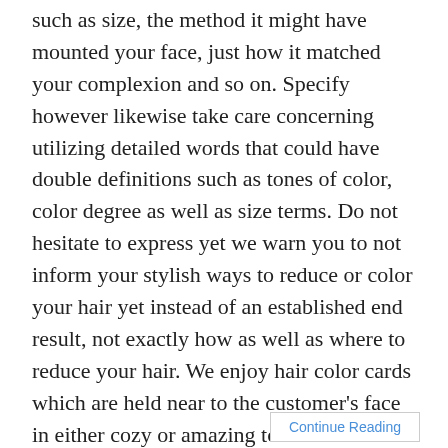such as size, the method it might have mounted your face, just how it matched your complexion and so on. Specify however likewise take care concerning utilizing detailed words that could have double definitions such as tones of color, color degree as well as size terms. Do not hesitate to express yet we warn you to not inform your stylish ways to reduce or color your hair yet instead of an established end result, not exactly how as well as where to reduce your hair. We enjoy hair color cards which are held near to the customer's face in either cozy or amazing tones which are an incredible aesthetic help for several customers revealing them which color tones function best with their all-natural complexion.
Continue Reading